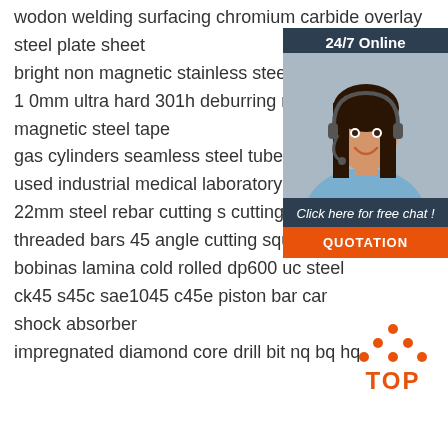wodon welding surfacing chromium carbide overlay steel plate sheet
bright non magnetic stainless steel coil band
1 0mm ultra hard 301h deburring non magnetic steel tape
gas cylinders seamless steel tubes with
used industrial medical laboratory re
22mm steel rebar cutting s cutting s
threaded bars 45 angle cutting square
bobinas lamina cold rolled dp600 uc steel
ck45 s45c sae1045 c45e piston bar car shock absorber
impregnated diamond core drill bit nq bq hq
[Figure (infographic): Customer service chat widget with agent photo, 24/7 Online label, 'Click here for free chat!' text, and orange QUOTATION button]
[Figure (logo): TOP logo with orange dotted triangle above orange text 'TOP']